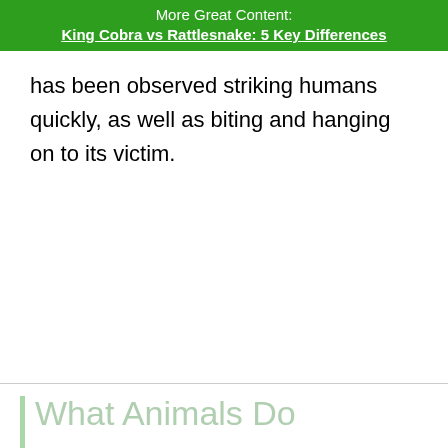More Great Content:
King Cobra vs Rattlesnake: 5 Key Differences
has been observed striking humans quickly, as well as biting and hanging on to its victim.
What Animals Do